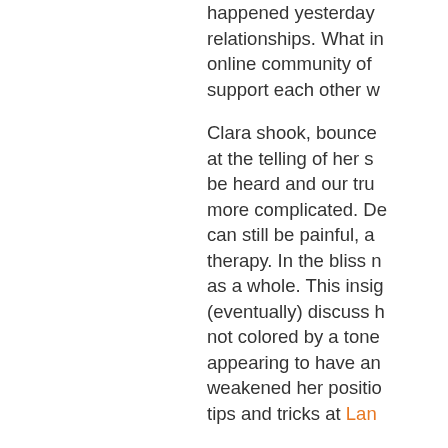happened yesterday relationships. What in online community of support each other w
Clara shook, bounced at the telling of her s be heard and our tru more complicated. De can still be painful, a therapy. In the bliss n as a whole. This insig (eventually) discuss h not colored by a tone appearing to have an weakened her positio tips and tricks at Lan
What was it like to le connections with othe physical activity as pa